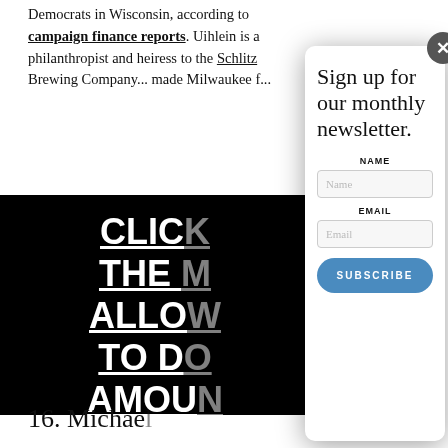Democrats in Wisconsin, according to campaign finance reports. Uihlein is a philanthropist and heiress to the Schlitz Brewing Company... made Milwaukee f...
[Figure (screenshot): Black banner with white underlined text lines: CLICK, THE, ALLOW, TO DO, AMOU, POL]
16. Michae...
[Figure (screenshot): Newsletter signup modal overlay with title 'Sign up for our monthly newsletter.', NAME field, EMAIL field, and SUBSCRIBE button. Close button (X) in top right corner.]